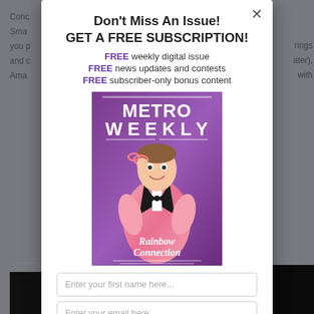Cond
Sma
you p
and c
Ama
rings
ater),
with
Don't Miss An Issue!
GET A FREE SUBSCRIPTION!
FREE weekly digital issue
FREE news updates and contests
FREE subscriber-only bonus content
[Figure (photo): Metro Weekly magazine cover featuring a man in a pink sparkly tuxedo holding pink glasses, with the text 'Rainbow Connection' overlaid on a purple background]
Edit
Ken
The n
Scor
Sund
By An
Enter your first name here...
Enter your email here...